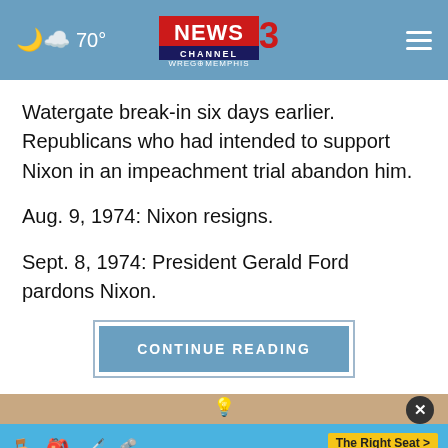70° NEWS CHANNEL 3 WREG MEMPHIS
Watergate break-in six days earlier. Republicans who had intended to support Nixon in an impeachment trial abandon him.
Aug. 9, 1974: Nixon resigns.
Sept. 8, 1974: President Gerald Ford pardons Nixon.
CONTINUE READING
[Figure (other): Advertisement banner for NHTSA The Right Seat campaign with car seat icons on blue background]